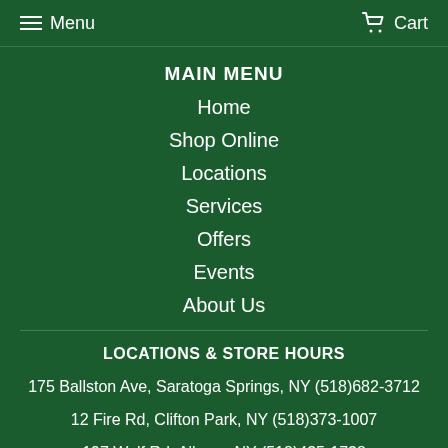Menu  Cart
MAIN MENU
Home
Shop Online
Locations
Services
Offers
Events
About Us
LOCATIONS & STORE HOURS
175 Ballston Ave, Saratoga Springs, NY (518)682-3712
12 Fire Rd, Clifton Park, NY (518)373-1007
197 Wolf Rd, Albany, NY (518)435-1738